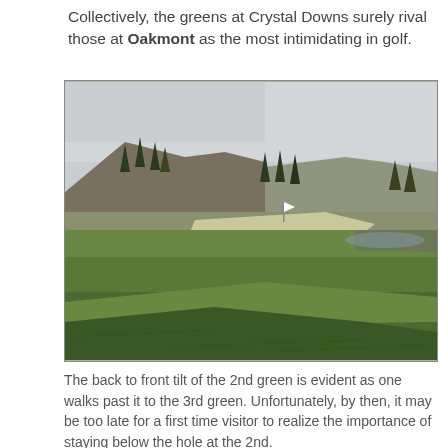Collectively, the greens at Crystal Downs surely rival those at Oakmont as the most intimidating in golf.
[Figure (photo): Photograph of a golf course green at Crystal Downs, showing the back-to-front tilt of the 2nd green with rolling fairway in the foreground, trees and a hillside in the background, and an overcast sky.]
The back to front tilt of the 2nd green is evident as one walks past it to the 3rd green. Unfortunately, by then, it may be too late for a first time visitor to realize the importance of staying below the hole at the 2nd.